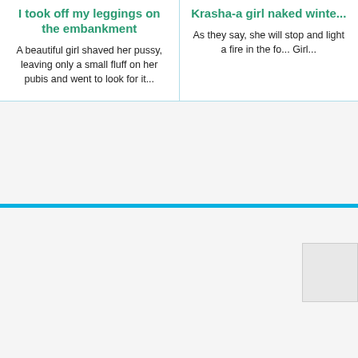I took off my leggings on the embankment
A beautiful girl shaved her pussy, leaving only a small fluff on her pubis and went to look for it...
Krasha-a girl naked winte...
As they say, she will stop and light a fire in the fo... Girl...